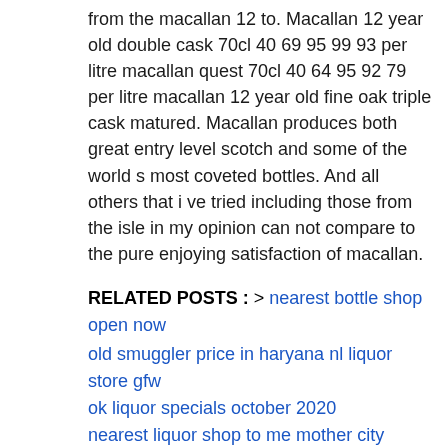from the macallan 12 to. Macallan 12 year old double cask 70cl 40 69 95 99 93 per litre macallan quest 70cl 40 64 95 92 79 per litre macallan 12 year old fine oak triple cask matured. Macallan produces both great entry level scotch and some of the world s most coveted bottles. And all others that i ve tried including those from the isle in my opinion can not compare to the pure enjoying satisfaction of macallan.
RELATED POSTS : > nearest bottle shop open now old smuggler price in haryana nl liquor store gfw ok liquor specials october 2020 nearest liquor shop to me mother city liquor nearest liquor store to my current location nearest liquor store near me right now officer choice blue price non alcoholic margarita cupcakes
This complex combination of oak casks